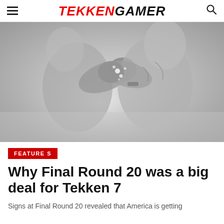TEKKENGAMER
[Figure (photo): Grayscale action image of two muscular fighting game characters clashing, showing fists and torsos in close combat with sparks/effects, from Tekken 7]
FEATURES
Why Final Round 20 was a big deal for Tekken 7
Signs at Final Round 20 revealed that America is getting